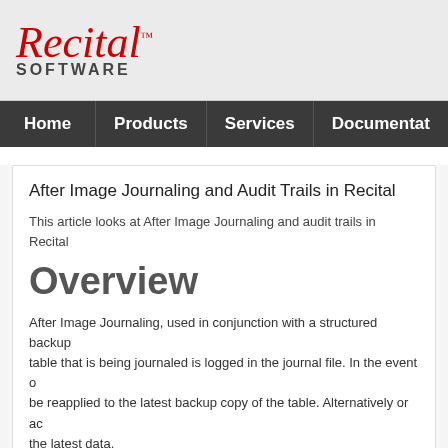[Figure (logo): Recital Software logo with red italic cursive 'Recital' text with trademark symbol and bold uppercase 'SOFTWARE' subtitle in dark gray]
Home | Products | Services | Documentation
After Image Journaling and Audit Trails in Recital
This article looks at After Image Journaling and audit trails in Recital
Overview
After Image Journaling, used in conjunction with a structured backup table that is being journaled is logged in the journal file. In the event be reapplied to the latest backup copy of the table. Alternatively or ac the latest data.